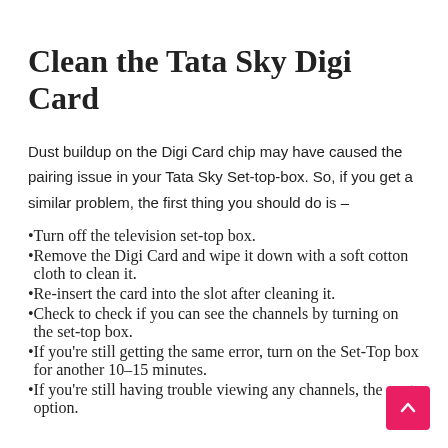Clean the Tata Sky Digi Card
Dust buildup on the Digi Card chip may have caused the pairing issue in your Tata Sky Set-top-box. So, if you get a similar problem, the first thing you should do is –
Turn off the television set-top box.
Remove the Digi Card and wipe it down with a soft cotton cloth to clean it.
Re-insert the card into the slot after cleaning it.
Check to check if you can see the channels by turning on the set-top box.
If you're still getting the same error, turn on the Set-Top box for another 10–15 minutes.
If you're still having trouble viewing any channels, the next option.